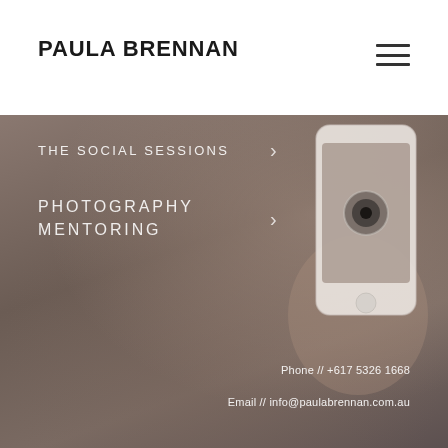PAULA BRENNAN
[Figure (photo): Background hero image showing a person's hand holding a smartphone camera, with a warm grey-brown overlay tone.]
THE SOCIAL SESSIONS
PHOTOGRAPHY MENTORING
Phone // +617 5326 1668
Email // info@paulabrennan.com.au